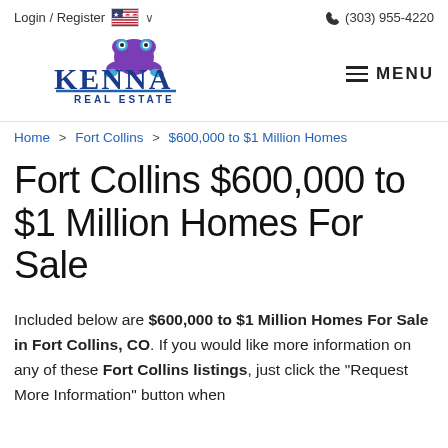Login / Register   🇺🇸 ∨   (303) 955-4220
[Figure (logo): Kenna Real Estate logo with purple frog mascot sitting on stylized blue text reading KENNA REAL ESTATE]
MENU
Home > Fort Collins > $600,000 to $1 Million Homes
Fort Collins $600,000 to $1 Million Homes For Sale
Included below are $600,000 to $1 Million Homes For Sale in Fort Collins, CO. If you would like more information on any of these Fort Collins listings, just click the "Request More Information" button when